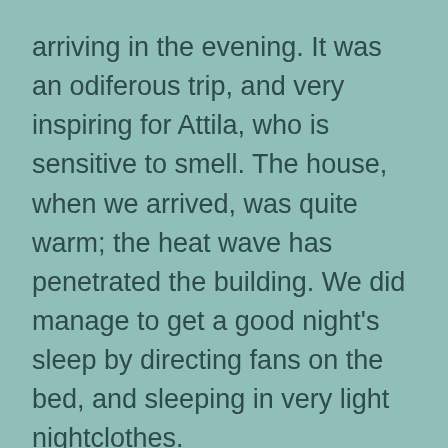arriving in the evening. It was an odiferous trip, and very inspiring for Attila, who is sensitive to smell. The house, when we arrived, was quite warm; the heat wave has penetrated the building. We did manage to get a good night's sleep by directing fans on the bed, and sleeping in very light nightclothes.
We have one room emptied! Only seven more to go. Attila had to run out and fetch more boxes, this is a big job. We just might have to spend five years purging, after the move.
I am cleaning as we go, otherwise the cleaning